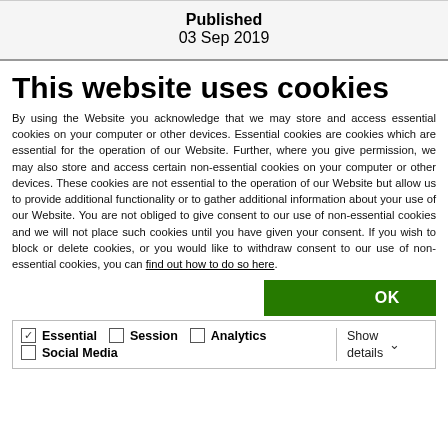Published
03 Sep 2019
This website uses cookies
By using the Website you acknowledge that we may store and access essential cookies on your computer or other devices. Essential cookies are cookies which are essential for the operation of our Website. Further, where you give permission, we may also store and access certain non-essential cookies on your computer or other devices. These cookies are not essential to the operation of our Website but allow us to provide additional functionality or to gather additional information about your use of our Website. You are not obliged to give consent to our use of non-essential cookies and we will not place such cookies until you have given your consent. If you wish to block or delete cookies, or you would like to withdraw consent to our use of non-essential cookies, you can find out how to do so here.